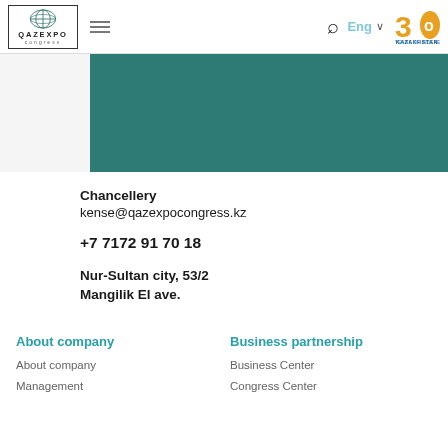QAZEXPO congress — navigation header with logo, hamburger menu, search, language selector (Eng), and Kazakhstan 30 Years badge
[Figure (other): Teal/dark green banner image area]
Chancellery
kense@qazexpocongress.kz
+7 7172 91 70 18
Nur-Sultan city, 53/2
Mangilik El ave.
About company
About company
Management
Business partnership
Business Center
Congress Center